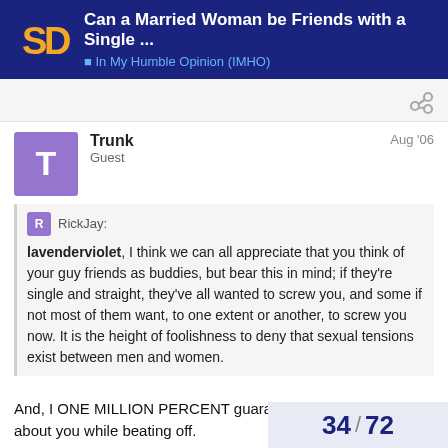Can a Married Woman be Friends with a Single ... | In My Humble Opinion (IMHO)
Trunk
Guest
Aug '06
RickJay:
lavenderviolet, I think we can all appreciate that you think of your guy friends as buddies, but bear this in mind; if they're single and straight, they've all wanted to screw you, and some if not most of them want, to one extent or another, to screw you now. It is the height of foolishness to deny that sexual tensions exist between men and women.
And, I ONE MILLION PERCENT guarantee they've thought about you while beating off.
34 / 72